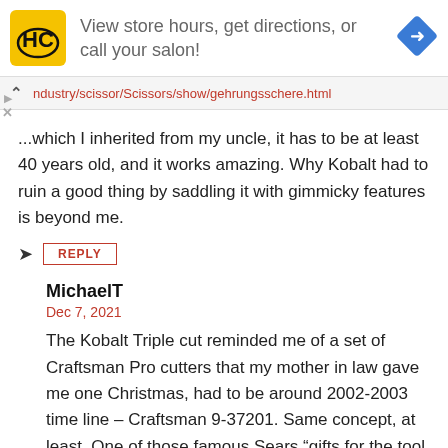[Figure (other): Advertisement banner with HC logo (yellow square), text 'View store hours, get directions, or call your salon!', and a blue diamond navigation icon]
ndustry/scissor/Scissors/show/gehrungsschere.html
...which I inherited from my uncle, it has to be at least 40 years old, and it works amazing. Why Kobalt had to ruin a good thing by saddling it with gimmicky features is beyond me.
REPLY
MichaelT
Dec 7, 2021
The Kobalt Triple cut reminded me of a set of Craftsman Pro cutters that my mother in law gave me one Christmas, had to be around 2002-2003 time line – Craftsman 9-37201. Same concept, at least. One of those famous Sears "gifts for the tool